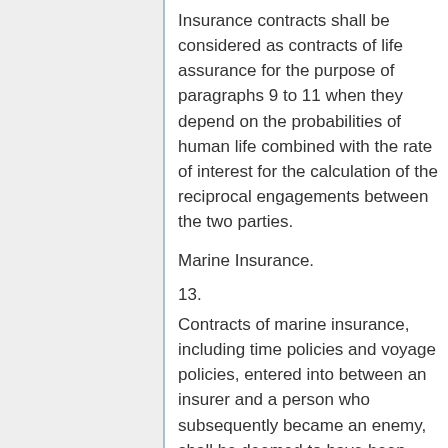Insurance contracts shall be considered as contracts of life assurance for the purpose of paragraphs 9 to 11 when they depend on the probabilities of human life combined with the rate of interest for the calculation of the reciprocal engagements between the two parties.
Marine Insurance.
13.
Contracts of marine insurance, including time policies and voyage policies, entered into between an insurer and a person who subsequently became an enemy, shall be deemed to have been dissolved on his becoming an enemy, except in cases where the risk undertaken in the contract had attached